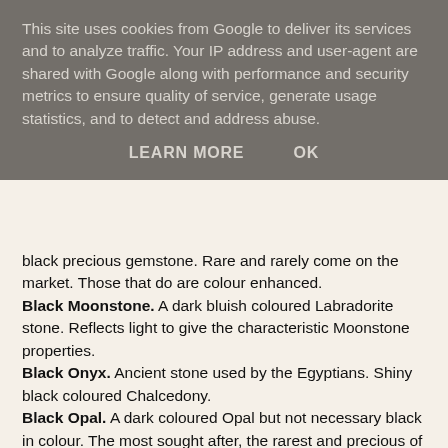This site uses cookies from Google to deliver its services and to analyze traffic. Your IP address and user-agent are shared with Google along with performance and security metrics to ensure quality of service, generate usage statistics, and to detect and address abuse.
LEARN MORE    OK
black precious gemstone. Rare and rarely come on the market. Those that do are colour enhanced.
Black Moonstone. A dark bluish coloured Labradorite stone. Reflects light to give the characteristic Moonstone properties.
Black Onyx. Ancient stone used by the Egyptians. Shiny black coloured Chalcedony.
Black Opal. A dark coloured Opal but not necessary black in colour. The most sought after, the rarest and precious of the Opal family. Thought to have possessed the power of foresight.
Black Lipped Oyster. The name of the type of mussel that produces pearls. This type produces Black South Sea pearls or Tahitian pearl. The Black Lipped Pearl is the rarest